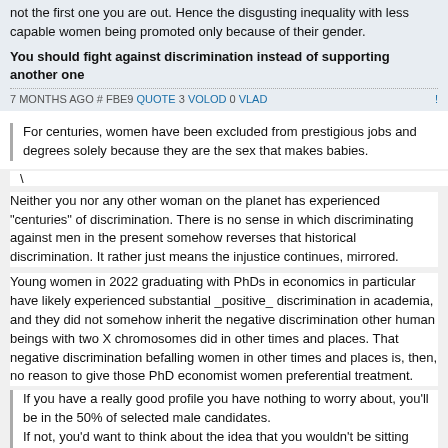not the first one you are out. Hence the disgusting inequality with less capable women being promoted only because of their gender.
You should fight against discrimination instead of supporting another one
7 MONTHS AGO # FBE9 QUOTE 3 VOLOD 0 VLAD
For centuries, women have been excluded from prestigious jobs and degrees solely because they are the sex that makes babies.
\
Neither you nor any other woman on the planet has experienced "centuries" of discrimination. There is no sense in which discriminating against men in the present somehow reverses that historical discrimination. It rather just means the injustice continues, mirrored.
Young women in 2022 graduating with PhDs in economics in particular have likely experienced substantial _positive_ discrimination in academia, and they did not somehow inherit the negative discrimination other human beings with two X chromosomes did in other times and places. That negative discrimination befalling women in other times and places is, then, no reason to give those PhD economist women preferential treatment.
If you have a really good profile you have nothing to worry about, you'll be in the 50% of selected male candidates. If not, you'd want to think about the idea that you wouldn't be sitting there...